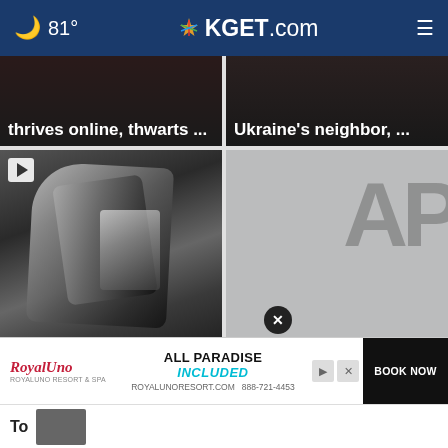🌙 81° | KGET.com
[Figure (screenshot): Truncated news card: 'thrives online, thwarts ...']
[Figure (screenshot): Truncated news card: 'Ukraine's neighbor, ...']
[Figure (photo): Car crash image with play button. Headline: 'Traffic deaths are up because of risky driver behaviors ...']
[Figure (screenshot): AP logo placeholder. Headline: 'R. Kelly's lawyer gets chance to question government ...']
[Figure (screenshot): Advertisement: Royal Uno resort - ALL PARADISE INCLUDED. ROYALUNORESORT.COM 888-721-4453 BOOK NOW]
To